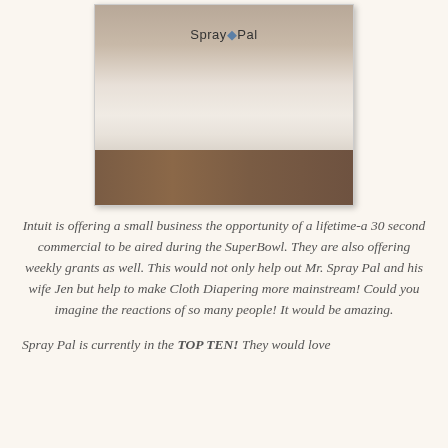[Figure (photo): A white cylindrical container labeled 'Spray Pal' sitting on a wooden surface]
Intuit is offering a small business the opportunity of a lifetime-a 30 second commercial to be aired during the SuperBowl. They are also offering weekly grants as well. This would not only help out Mr. Spray Pal and his wife Jen but help to make Cloth Diapering more mainstream! Could you imagine the reactions of so many people! It would be amazing.
Spray Pal is currently in the TOP TEN! They would love